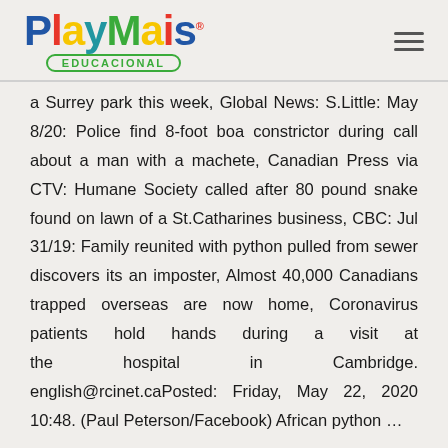[Figure (logo): PlayMais Educacional logo with colorful lettering and green oval badge]
a Surrey park this week, Global News: S.Little: May 8/20: Police find 8-foot boa constrictor during call about a man with a machete, Canadian Press via CTV: Humane Society called after 80 pound snake found on lawn of a St.Catharines business, CBC: Jul 31/19: Family reunited with python pulled from sewer discovers its an imposter, Almost 40,000 Canadians trapped overseas are now home, Coronavirus patients hold hands during a visit at the hospital in Cambridge. english@rcinet.caPosted: Friday, May 22, 2020 10:48. (Paul Peterson/Facebook) African python … Madison Sergeant, who was walking in the